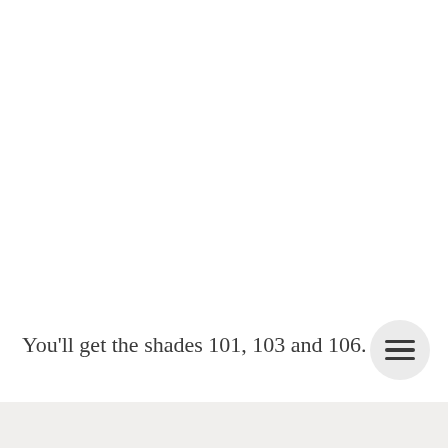You'll get the shades 101, 103 and 106.
[Figure (other): Circular menu button with three horizontal lines (hamburger icon) on a light grey background]